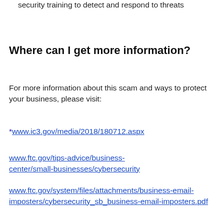security training to detect and respond to threats
Where can I get more information?
For more information about this scam and ways to protect your business, please visit:
*www.ic3.gov/media/2018/180712.aspx
www.ftc.gov/tips-advice/business-center/small-businesses/cybersecurity
www.ftc.gov/system/files/attachments/business-email-imposters/cybersecurity_sb_business-email-imposters.pdf